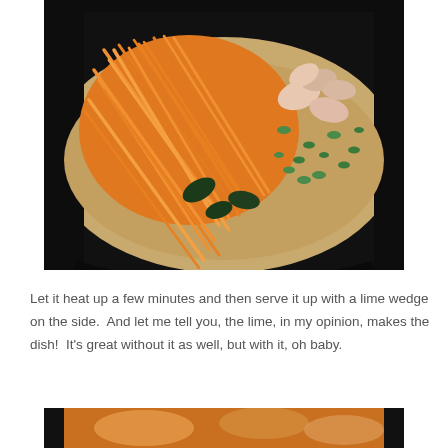[Figure (photo): A dark skillet/wok containing shredded orange carrots piled high on the left, with shrimp, sliced cucumber, and chopped green onions to the right, all sitting in a light tan/beige broth or sauce.]
Let it heat up a few minutes and then serve it up with a lime wedge on the side.  And let me tell you, the lime, in my opinion, makes the dish!  It's great without it as well, but with it, oh baby.
[Figure (photo): Bottom portion of another food photo, partially visible, showing warm orange and yellow tones.]